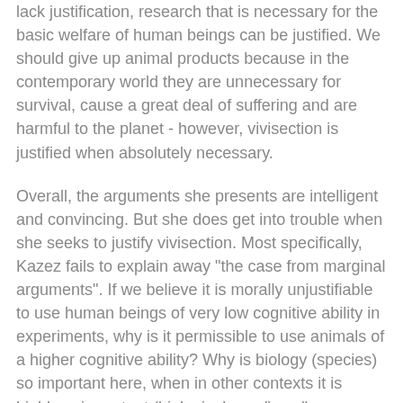lack justification, research that is necessary for the basic welfare of human beings can be justified. We should give up animal products because in the contemporary world they are unnecessary for survival, cause a great deal of suffering and are harmful to the planet - however, vivisection is justified when absolutely necessary.
Overall, the arguments she presents are intelligent and convincing. But she does get into trouble when she seeks to justify vivisection. Most specifically, Kazez fails to explain away "the case from marginal arguments". If we believe it is morally unjustifiable to use human beings of very low cognitive ability in experiments, why is it permissible to use animals of a higher cognitive ability? Why is biology (species) so important here, when in other contexts it is highly unimportant (biological sex, "race", age, etc)?
Kazez is rather brief in her argument, but the gist is that we favour "unfortunate" humans because of sympathy, and we have sympathy because we